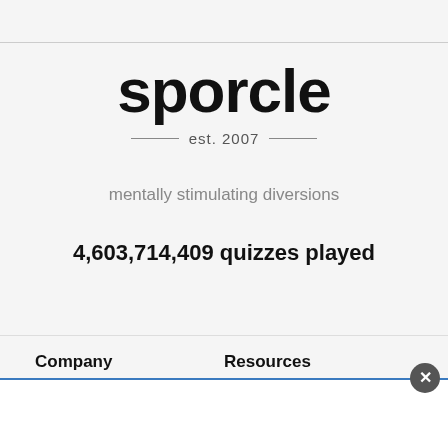sporcle
est. 2007
mentally stimulating diversions
4,603,714,409 quizzes played
Company
Resources
About Us
Feedback
Stats
Report a Problem